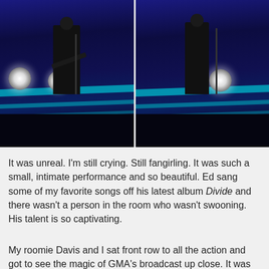[Figure (photo): Two side-by-side photos of a performer on a stage with blue/purple lighting. On the left, the performer plays guitar; on the right, the performer stands at a microphone. Stage floor has cyan/teal light strips and stage lights visible.]
It was unreal. I'm still crying. Still fangirling. It was such a small, intimate performance and so beautiful. Ed sang some of my favorite songs off his latest album Divide and there wasn't a person in the room who wasn't swooning. His talent is so captivating.
My roomie Davis and I sat front row to all the action and got to see the magic of GMA's broadcast up close. It was